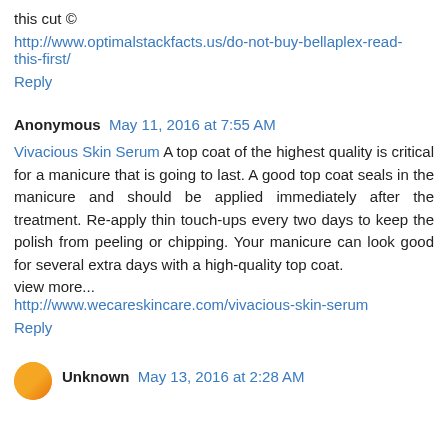this cut ©
http://www.optimalstackfacts.us/do-not-buy-bellaplex-read-this-first/
Reply
Anonymous  May 11, 2016 at 7:55 AM
Vivacious Skin Serum A top coat of the highest quality is critical for a manicure that is going to last. A good top coat seals in the manicure and should be applied immediately after the treatment. Re-apply thin touch-ups every two days to keep the polish from peeling or chipping. Your manicure can look good for several extra days with a high-quality top coat.
view more...
http://www.wecareskincare.com/vivacious-skin-serum
Reply
Unknown  May 13, 2016 at 2:28 AM